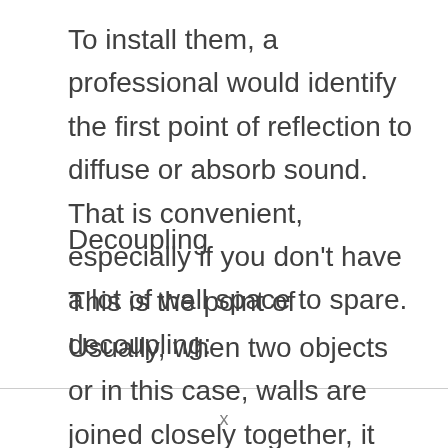To install them, a professional would identify the first point of reflection to diffuse or absorb sound. That is convenient, especially if you don't have a lot of wall space to spare.
Decoupling
This is the point of decoupling:
Usually, when two objects or in this case, walls are joined closely together, it makes it
x